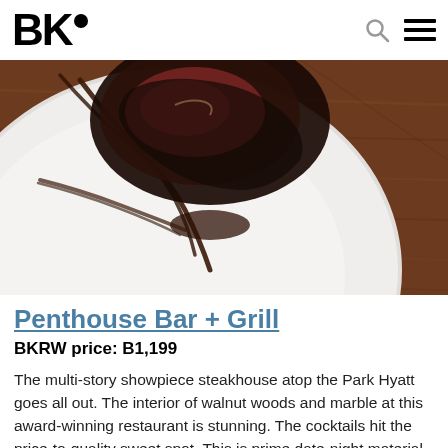BK•
[Figure (photo): Overhead close-up of a steak dish on a white plate with dark sauce drizzle, placed on a wooden table surface.]
Penthouse Bar + Grill
BKRW price: B1,199
The multi-story showpiece steakhouse atop the Park Hyatt goes all out. The interior of walnut woods and marble at this award-winning restaurant is stunning. The cocktails hit the price-to-quality sweet spot. This is prime date-night material. It's not